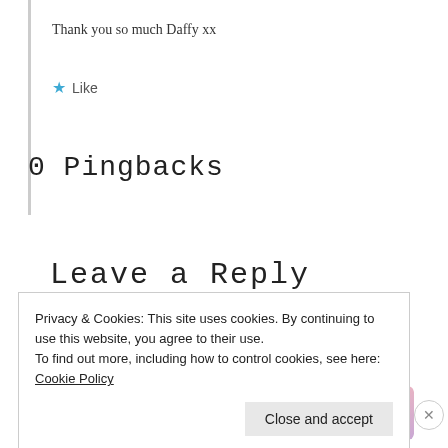Thank you so much Daffy xx
★ Like
0 Pingbacks
Leave a Reply
Privacy & Cookies: This site uses cookies. By continuing to use this website, you agree to their use.
To find out more, including how to control cookies, see here: Cookie Policy
Close and accept
Advertisements
[Figure (logo): WordPress VIP logo with circle W icon and 'vip' text]
[Figure (infographic): Gradient advertisement banner with Learn more arrow button]